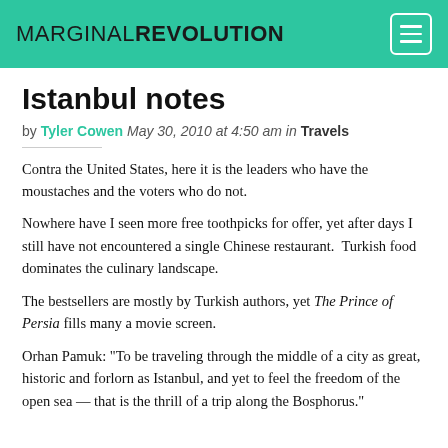MARGINALREVOLUTION
Istanbul notes
by Tyler Cowen May 30, 2010 at 4:50 am in Travels
Contra the United States, here it is the leaders who have the moustaches and the voters who do not.
Nowhere have I seen more free toothpicks for offer, yet after days I still have not encountered a single Chinese restaurant.  Turkish food dominates the culinary landscape.
The bestsellers are mostly by Turkish authors, yet The Prince of Persia fills many a movie screen.
Orhan Pamuk: "To be traveling through the middle of a city as great, historic and forlorn as Istanbul, and yet to feel the freedom of the open sea — that is the thrill of a trip along the Bosphorus."